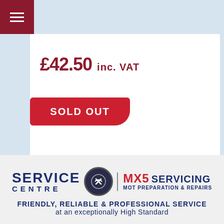[Figure (screenshot): Dark red hamburger menu icon in top-left corner]
£42.50 inc. VAT
SOLD OUT
[Figure (logo): Service Centre MX5 Servicing MOT Preparation & Repairs logo with wrench circle icon]
FRIENDLY, RELIABLE & PROFESSIONAL SERVICE
at an exceptionally High Standard